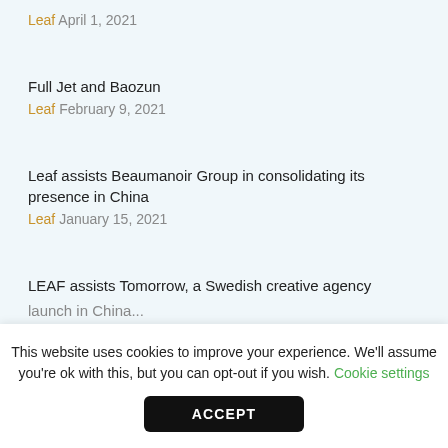Leaf April 1, 2021
Full Jet and Baozun
Leaf February 9, 2021
Leaf assists Beaumanoir Group in consolidating its presence in China
Leaf January 15, 2021
LEAF assists Tomorrow, a Swedish creative agency launch in China...
This website uses cookies to improve your experience. We'll assume you're ok with this, but you can opt-out if you wish. Cookie settings
ACCEPT